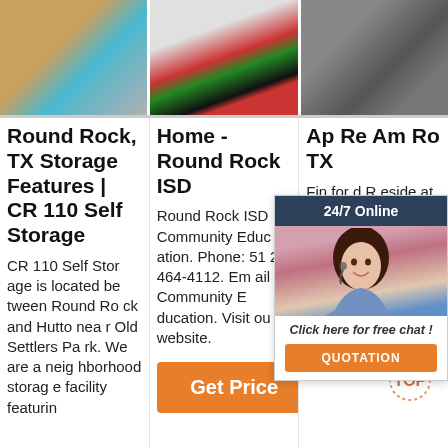[Figure (photo): Three product images in a row: left shows a gold/teal object, center shows red and colorful small pieces on white background, right shows dark gray objects]
Round Rock, TX Storage Features | CR 110 Self Storage
CR 110 Self Storage is located between Round Rock and Hutto near Old Settlers Park. We are a neighborhood storage facility featurin
Home - Round Rock ISD
Round Rock ISD Community Education. Phone: 512-464-4112. Email Community Education. Visit our website.
[Figure (other): Orange 'Get Price' button]
Ap Re Am Ro TX
Find for d R eside at La Frontera has many of the amenities you are looking for. Take a look toda
[Figure (other): 24/7 Online chat widget with agent photo, 'Click here for free chat!' text, and orange QUOTATION button]